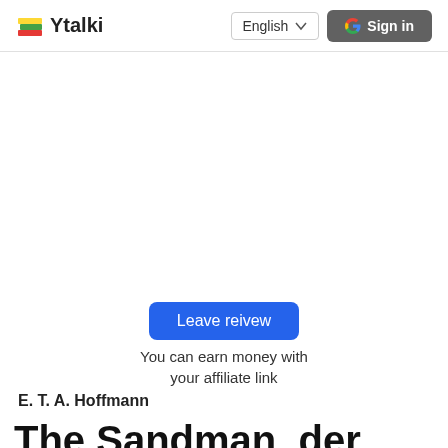Ytalki  English  Sign in
Leave reivew
You can earn money with your affiliate link
E. T. A. Hoffmann
The Sandman, der